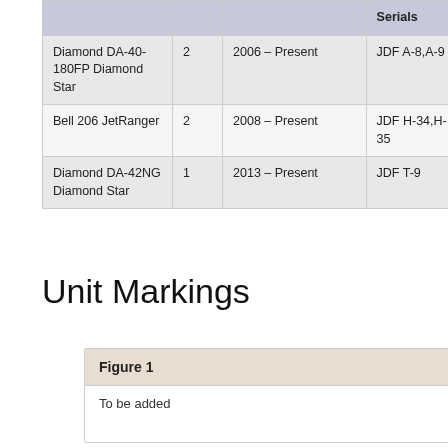|  |  |  | Serials |
| --- | --- | --- | --- |
| Diamond DA-40-180FP Diamond Star | 2 | 2006 – Present | JDF A-8,A-9 |
| Bell 206 JetRanger | 2 | 2008 – Present | JDF H-34,H-35 |
| Diamond DA-42NG Diamond Star | 1 | 2013 – Present | JDF T-9 |
Unit Markings
Figure 1
To be added